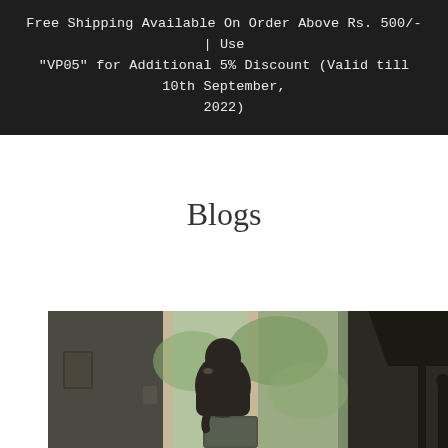Free Shipping Available On Order Above Rs. 500/- | Use "VP05" for Additional 5% Discount (Valid till 10th September, 2022)
Blogs
[Figure (photo): A person seen from behind sitting at a desk working on a laptop near a large window with trees and outdoor foliage visible. A lamp is visible on the right side.]